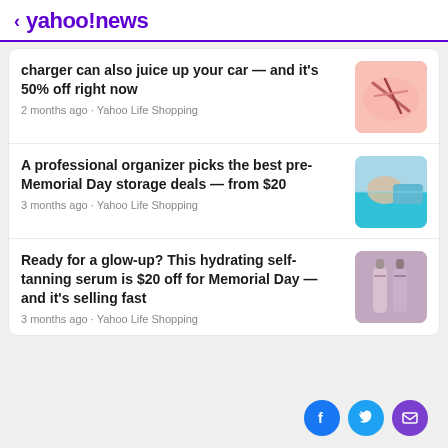< yahoo!news
charger can also juice up your car — and it's 50% off right now
2 months ago · Yahoo Life Shopping
A professional organizer picks the best pre-Memorial Day storage deals — from $20
3 months ago · Yahoo Life Shopping
Ready for a glow-up? This hydrating self-tanning serum is $20 off for Memorial Day — and it's selling fast
3 months ago · Yahoo Life Shopping